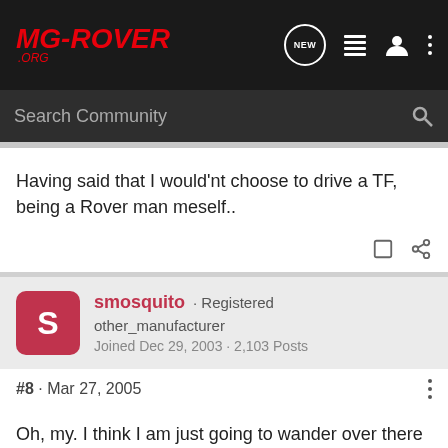[Figure (logo): MG-ROVER.ORG website logo on dark header bar with navigation icons]
Search Community
Having said that I would'nt choose to drive a TF, being a Rover man meself..
smosquito · Registered
other_manufacturer
Joined Dec 29, 2003 · 2,103 Posts
#8 · Mar 27, 2005
Oh, my. I think I am just going to wander over there for a minute...
MGF...